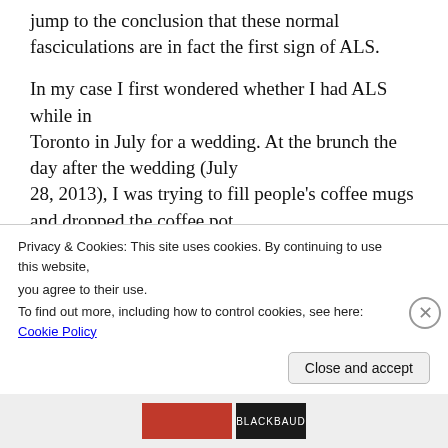jump to the conclusion that these normal fasciculations are in fact the first sign of ALS.
In my case I first wondered whether I had ALS while in Toronto in July for a wedding. At the brunch the day after the wedding (July 28, 2013), I was trying to fill people’s coffee mugs and dropped the coffee pot on the table. I never lost my grip on the handle, but my right shoulder just
Privacy & Cookies: This site uses cookies. By continuing to use this website, you agree to their use.
To find out more, including how to control cookies, see here: Cookie Policy